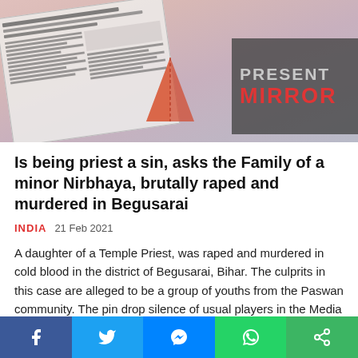[Figure (photo): News article header image showing a newspaper being held, with a logo overlay showing 'PRESENT MIRROR' on a dark background, and an orange/red M-shape logo icon in the middle.]
Is being priest a sin, asks the Family of a minor Nirbhaya, brutally raped and murdered in Begusarai
INDIA   21 Feb 2021
A daughter of a Temple Priest, was raped and murdered in cold blood in the district of Begusarai, Bihar. The culprits in this case are alleged to be a group of youths from the Paswan community. The pin drop silence of usual players in the Media and a blank